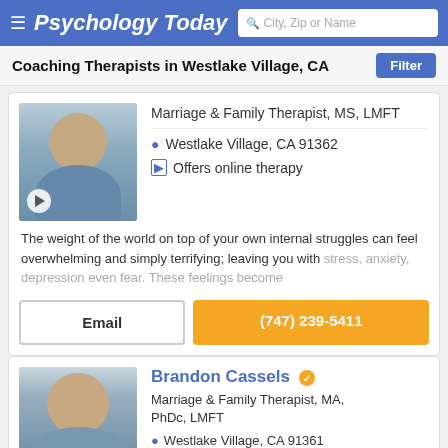Psychology Today — City, Zip or Name search
Coaching Therapists in Westlake Village, CA
[Figure (photo): Therapist profile photo: man in blue shirt with beard, smiling, with play button overlay]
Marriage & Family Therapist, MS, LMFT
Westlake Village, CA 91362
Offers online therapy
The weight of the world on top of your own internal struggles can feel overwhelming and simply terrifying; leaving you with stress, anxiety, depression even fear. These feelings become
Email
(747) 239-5411
Brandon Cassels
Marriage & Family Therapist, MA, PhDc, LMFT
Westlake Village, CA 91361